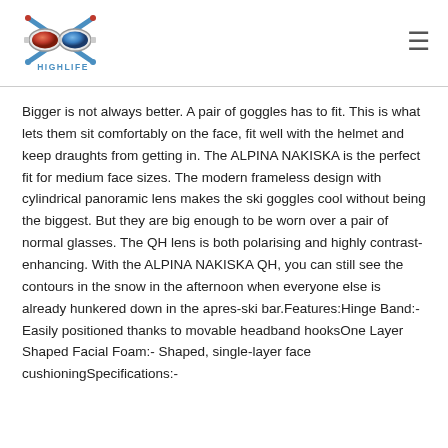[Figure (logo): Highlife ski goggles logo with crossed ski poles, goggles, and the text HIGHLIFE below]
Bigger is not always better. A pair of goggles has to fit. This is what lets them sit comfortably on the face, fit well with the helmet and keep draughts from getting in. The ALPINA NAKISKA is the perfect fit for medium face sizes. The modern frameless design with cylindrical panoramic lens makes the ski goggles cool without being the biggest. But they are big enough to be worn over a pair of normal glasses. The QH lens is both polarising and highly contrast-enhancing. With the ALPINA NAKISKA QH, you can still see the contours in the snow in the afternoon when everyone else is already hunkered down in the apres-ski bar.Features:Hinge Band:- Easily positioned thanks to movable headband hooksOne Layer Shaped Facial Foam:- Shaped, single-layer face cushioningSpecifications:-